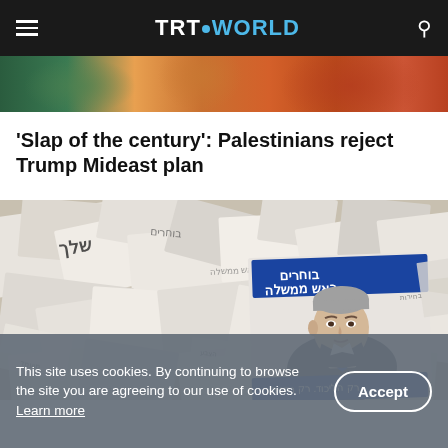TRT WORLD
[Figure (photo): Partial image strip showing colorful crowd/figures, cut off at top]
'Slap of the century': Palestinians reject Trump Mideast plan
[Figure (photo): Photo of scattered papers/flyers with Hebrew text and Benjamin Netanyahu's portrait on a campaign poster]
This site uses cookies. By continuing to browse the site you are agreeing to our use of cookies. Learn more